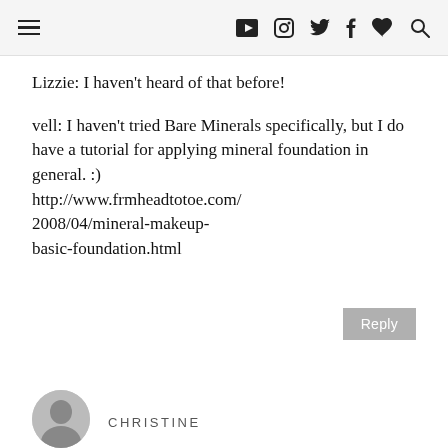≡ ▶ 📷 🐦 f ♥ 🔍
Lizzie: I haven't heard of that before!
vell: I haven't tried Bare Minerals specifically, but I do have a tutorial for applying mineral foundation in general. :) http://www.frmheadtotoe.com/2008/04/mineral-makeup-basic-foundation.html
Reply
CHRISTINE